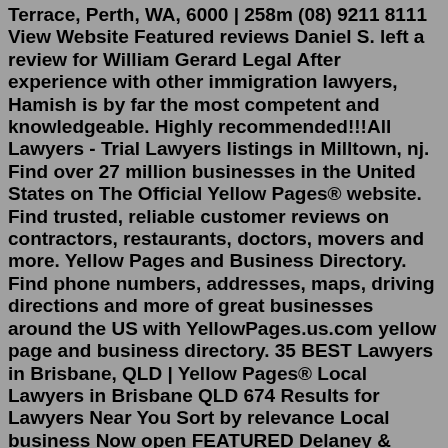Terrace, Perth, WA, 6000 | 258m (08) 9211 8111 View Website Featured reviews Daniel S. left a review for William Gerard Legal After experience with other immigration lawyers, Hamish is by far the most competent and knowledgeable. Highly recommended!!!All Lawyers - Trial Lawyers listings in Milltown, nj. Find over 27 million businesses in the United States on The Official Yellow Pages® website. Find trusted, reliable customer reviews on contractors, restaurants, doctors, movers and more. Yellow Pages and Business Directory. Find phone numbers, addresses, maps, driving directions and more of great businesses around the US with YellowPages.us.com yellow page and business directory. 35 BEST Lawyers in Brisbane, QLD | Yellow Pages® Local Lawyers in Brisbane QLD 674 Results for Lawyers Near You Sort by relevance Local business Now open FEATURED Delaney & Delaney Solicitors Lawyers & Solicitors, Brisbane, QLD 4000 Our Lawyers give Personal & Thorough Service in All Areas Of Law (07) 3236 1054 View WebsiteWilliam